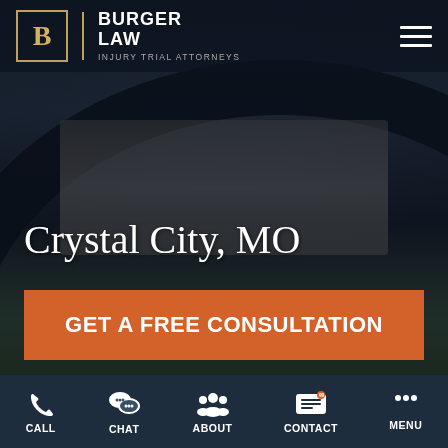[Figure (screenshot): Law firm website screenshot showing Burger Law Injury Trial Attorneys header with logo and hamburger menu, car interior background photo with windshield view of road, Crystal City MO heading, orange GET A FREE CONSULTATION button, phone number, and mobile bottom navigation bar with Call, Chat, About, Contact, Menu items]
BURGER LAW | INJURY TRIAL ATTORNEYS
Crystal City, MO
GET A FREE CONSULTATION
Or call (314) 500-HURT
CALL | CHAT | ABOUT | CONTACT | MENU